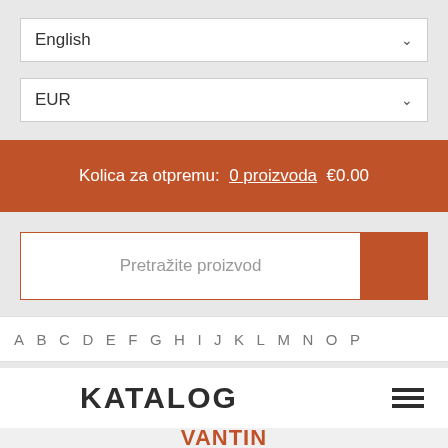English
EUR
Kolica za otpremu: 0 proizvoda €0.00
Pretražite proizvod
A B C D E F G H I J K L M N O P
KATALOG
VANTIN